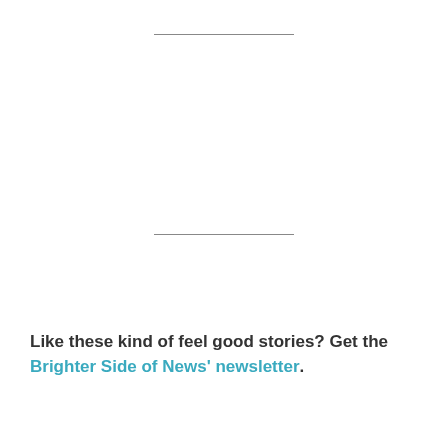Like these kind of feel good stories?  Get the Brighter Side of News' newsletter.
Tags:  #New_Discoveries, #Research, #Ultrasound, #Disorders, #Psychology
[Figure (screenshot): Advertisement banner for BitLife game with emoji characters (devil, person shrugging, angel, sperm) on a red polka-dot background with BitLife logo and 'REAL CHOICES' text]